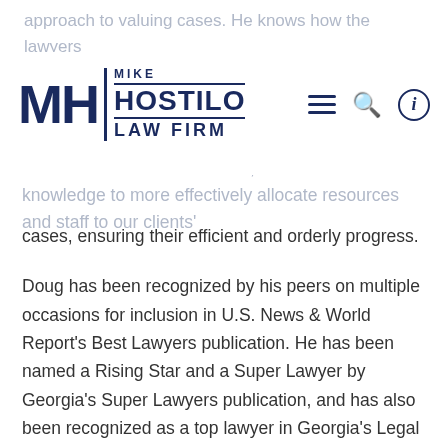MH Mike Hostilo Law Firm
approach to valuing cases. He knows how the lawyers at our adversaries' firms think, and uses that knowledge to more effectively allocate resources and staff to our clients' cases, ensuring their efficient and orderly progress.
Doug has been recognized by his peers on multiple occasions for inclusion in U.S. News & World Report's Best Lawyers publication. He has been named a Rising Star and a Super Lawyer by Georgia's Super Lawyers publication, and has also been recognized as a top lawyer in Georgia's Legal Trend Magazine. In addition, Doug has achieved a 5.0 AV Rating (the highest) from Matrindale Hubbell.
Doug has authored numerous legal articles for publication, and made presentations to individuals,